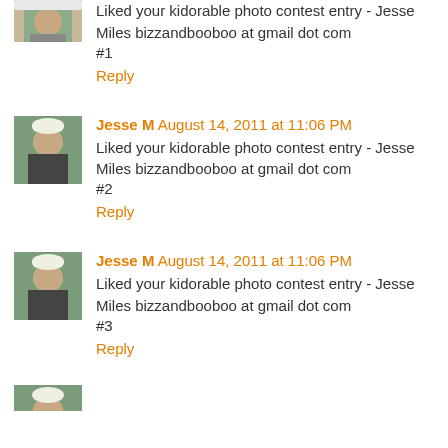Liked your kidorable photo contest entry - Jesse Miles bizzandbooboo at gmail dot com
#1
Reply
Jesse M  August 14, 2011 at 11:06 PM
Liked your kidorable photo contest entry - Jesse Miles bizzandbooboo at gmail dot com
#2
Reply
Jesse M  August 14, 2011 at 11:06 PM
Liked your kidorable photo contest entry - Jesse Miles bizzandbooboo at gmail dot com
#3
Reply